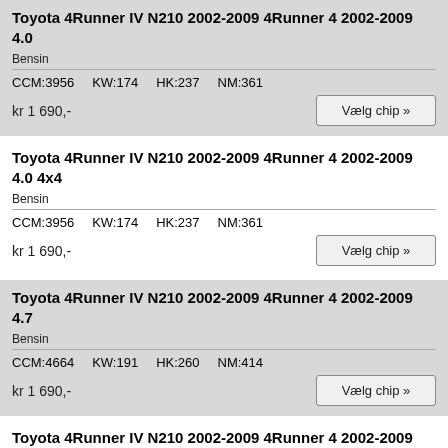Toyota 4Runner IV N210 2002-2009 4Runner 4 2002-2009 4.0
Bensin
| CCM | KW | HK | NM |
| --- | --- | --- | --- |
| 3956 | 174 | 237 | 361 |
kr 1 690,-
Toyota 4Runner IV N210 2002-2009 4Runner 4 2002-2009 4.0 4x4
Bensin
| CCM | KW | HK | NM |
| --- | --- | --- | --- |
| 3956 | 174 | 237 | 361 |
kr 1 690,-
Toyota 4Runner IV N210 2002-2009 4Runner 4 2002-2009 4.7
Bensin
| CCM | KW | HK | NM |
| --- | --- | --- | --- |
| 4664 | 191 | 260 | 414 |
kr 1 690,-
Toyota 4Runner IV N210 2002-2009 4Runner 4 2002-2009 4.7 4x4
Bensin